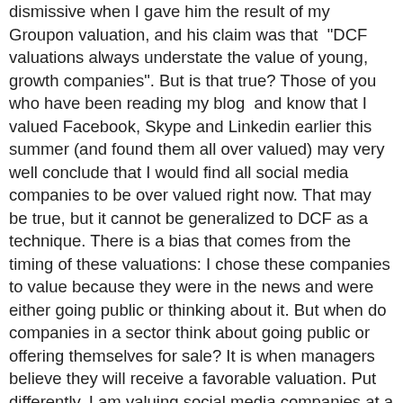dismissive when I gave him the result of my Groupon valuation, and his claim was that  "DCF valuations always understate the value of young, growth companies". But is that true? Those of you who have been reading my blog  and know that I valued Facebook, Skype and Linkedin earlier this summer (and found them all over valued) may very well conclude that I would find all social media companies to be over valued right now. That may be true, but it cannot be generalized to DCF as a technique. There is a bias that comes from the timing of these valuations: I chose these companies to value because they were in the news and were either going public or thinking about it. But when do companies in a sector think about going public or offering themselves for sale? It is when managers believe they will receive a favorable valuation. Put differently, I am valuing social media companies at a time when the market is most likely to be over valuing them. To provide some perspective, I valued dozens of dot com companies in the 1998, 1999 and 2000 and I found every one of them to be over valued. In 2001 and 2002, when I